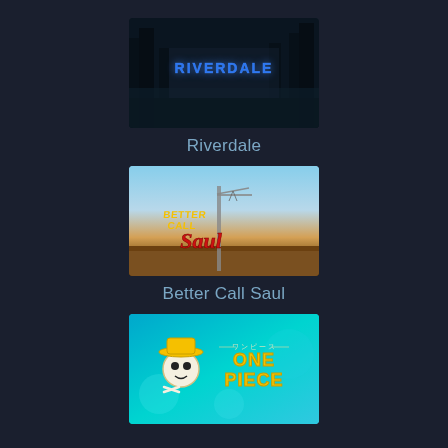[Figure (screenshot): Riverdale TV show logo thumbnail - dark forest/river scene with blue neon RIVERDALE text]
Riverdale
[Figure (screenshot): Better Call Saul TV show logo thumbnail - desert landscape with show logo sign]
Better Call Saul
[Figure (screenshot): One Piece anime logo thumbnail - blue underwater/ocean scene with One Piece logo]